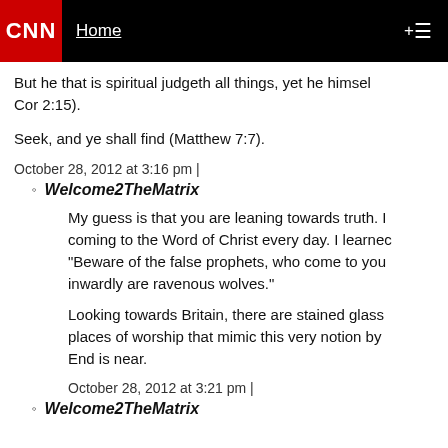CNN  Home +
But he that is spiritual judgeth all things, yet he himself is judged of no man (1 Cor 2:15).
Seek, and ye shall find (Matthew 7:7).
October 28, 2012 at 3:16 pm |
Welcome2TheMatrix
My guess is that you are leaning towards truth. I coming to the Word of Christ every day. I learned "Beware of the false prophets, who come to you inwardly are ravenous wolves."
Looking towards Britain, there are stained glass places of worship that mimic this very notion by End is near.
October 28, 2012 at 3:21 pm |
Welcome2TheMatrix